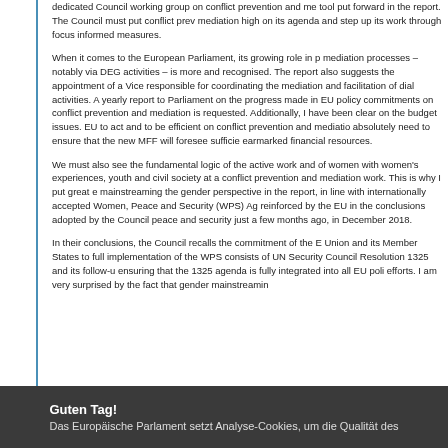dedicated Council working group on conflict prevention and me tool put forward in the report. The Council must put conflict prev mediation high on its agenda and step up its work through focus informed measures.
When it comes to the European Parliament, its growing role in p mediation processes – notably via DEG activities – is more and recognised. The report also suggests the appointment of a Vice responsible for coordinating the mediation and facilitation of dial activities. A yearly report to Parliament on the progress made in EU policy commitments on conflict prevention and mediation is requested. Additionally, I have been clear on the budget issues. EU to act and to be efficient on conflict prevention and mediatio absolutely need to ensure that the new MFF will foresee sufficie earmarked financial resources.
We must also see the fundamental logic of the active work and of women with women's experiences, youth and civil society at a conflict prevention and mediation work. This is why I put great e mainstreaming the gender perspective in the report, in line with internationally accepted Women, Peace and Security (WPS) Ag reinforced by the EU in the conclusions adopted by the Council peace and security just a few months ago, in December 2018.
In their conclusions, the Council recalls the commitment of the E Union and its Member States to full implementation of the WPS consists of UN Security Council Resolution 1325 and its follow-u ensuring that the 1325 agenda is fully integrated into all EU poli efforts. I am very surprised by the fact that gender mainstreamin
Guten Tag!
Das Europäische Parlament setzt Analyse-Cookies, um die Qualität des